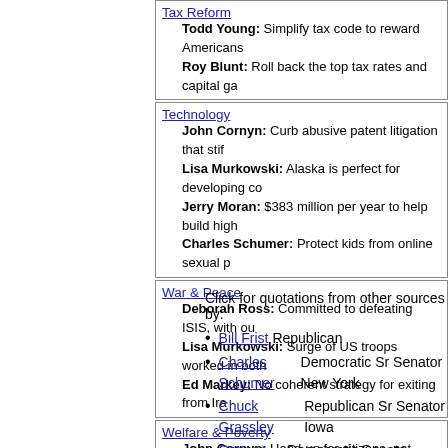Tax Reform
Todd Young: Simplify tax code to reward Americans
Roy Blunt: Roll back the top tax rates and capital ga
Technology
John Cornyn: Curb abusive patent litigation that stif
Lisa Murkowski: Alaska is perfect for developing co
Jerry Moran: $383 million per year to help build high
Charles Schumer: Protect kids from online sexual p
War & Peace
Deborah Ross: Committed to defeating ISIS, with ou
Lisa Murkowski: Surge of US troops worked in both
Ed Markey: No coherent strategy for exiting from Ira
Welfare & Poverty
John Cornyn: Hand-up for citizens, not merely a han
Click for quotations from other sources by:
Bill Frist Republican
Charles Schumer Democratic Sr Senator New York
Chuck Grassley Republican Sr Senator Iowa
Conner Eldridge Democratic Senate Challenger Arkansas
Deborah Ross Democratic Senate candidate North Carolina
Dennis Rehberg Republican Challenger Montana
Ed Markey Democratic Challenger Massachusetts
Gina Raimondo Rhode Island Democratic Governor
Jack Reed Democratic Sr Senator Rhode Island
James Lankford Republican Senate challenger Oklahoma
Jeff Merkley Democratic Jr Senator Oregon
Jerry Moran Republican Jr Senator Kansas
John Cornyn Republican Sr Senator Texas